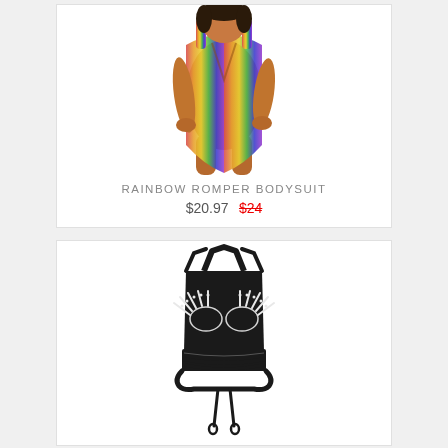[Figure (photo): Woman wearing a rainbow-colored deep-V one-piece bodysuit/swimsuit with multicolor gradient pattern]
RAINBOW ROMPER BODYSUIT
$20.97  $24
[Figure (photo): Black halter crop top with skeleton hand print design on chest and wrap-around tie waist band]